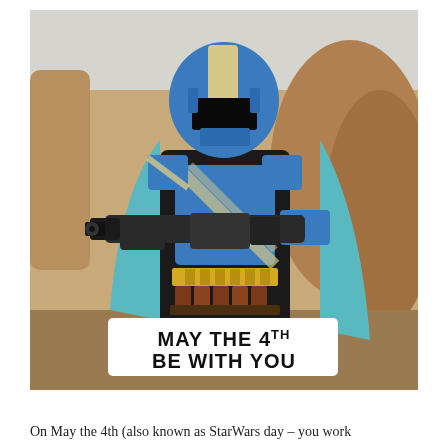[Figure (photo): A person dressed in blue and cream Mandalorian-style cosplay armor, wearing a full helmet with a visor, a teal cape, yellow belt, and brown lower armor, pointing a large blaster weapon directly at the camera. The background shows sandy/rocky desert terrain. A white banner overlay reads 'MAY THE 4TH BE WITH YOU' with 'TH' as superscript.]
On May the 4th (also known as StarWars day – you work